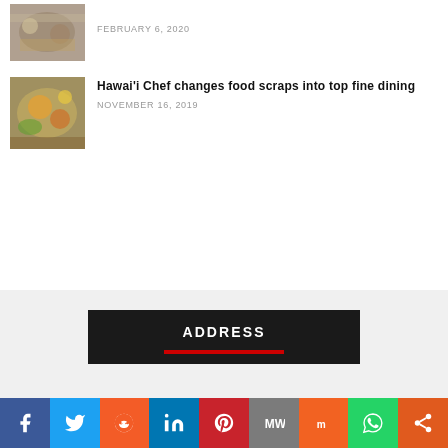[Figure (photo): Thumbnail photo of food dish (buffet/catering), partially visible at top]
FEBRUARY 6, 2020
[Figure (photo): Thumbnail photo of a colorful food dish (salad/meat with fruit garnish)]
Hawai'i Chef changes food scraps into top fine dining
NOVEMBER 16, 2019
[Figure (other): ADDRESS section with dark background and red underline bar]
f  Twitter  Reddit  in  Pinterest  MW  Mix  WhatsApp  Share